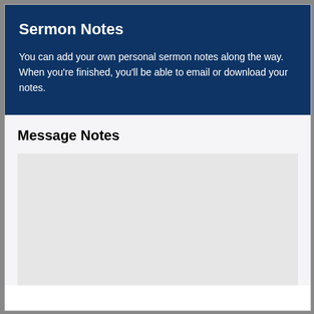Sermon Notes
You can add your own personal sermon notes along the way. When you're finished, you'll be able to email or download your notes.
Message Notes
[Figure (other): Empty light gray text area box for entering message notes]